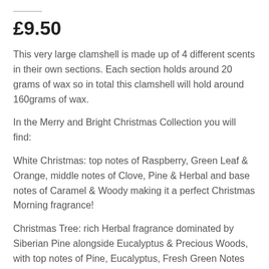£9.50
This very large clamshell is made up of 4 different scents in their own sections. Each section holds around 20 grams of wax so in total this clamshell will hold around 160grams of wax.
In the Merry and Bright Christmas Collection you will find:
White Christmas: top notes of Raspberry, Green Leaf & Orange, middle notes of Clove, Pine & Herbal and base notes of Caramel & Woody making it a perfect Christmas Morning fragrance!
Christmas Tree: rich Herbal fragrance dominated by Siberian Pine alongside Eucalyptus & Precious Woods, with top notes of Pine, Eucalyptus, Fresh Green Notes